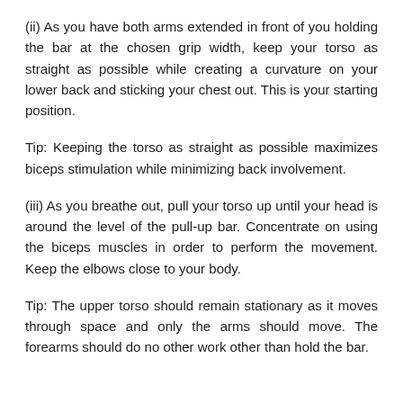(ii) As you have both arms extended in front of you holding the bar at the chosen grip width, keep your torso as straight as possible while creating a curvature on your lower back and sticking your chest out. This is your starting position.
Tip: Keeping the torso as straight as possible maximizes biceps stimulation while minimizing back involvement.
(iii) As you breathe out, pull your torso up until your head is around the level of the pull-up bar. Concentrate on using the biceps muscles in order to perform the movement. Keep the elbows close to your body.
Tip: The upper torso should remain stationary as it moves through space and only the arms should move. The forearms should do no other work other than hold the bar.